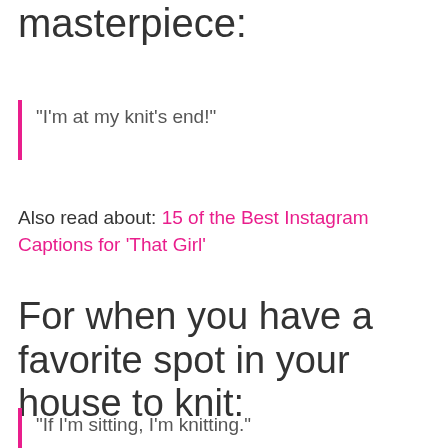masterpiece:
"I'm at my knit's end!"
Also read about: 15 of the Best Instagram Captions for 'That Girl'
For when you have a favorite spot in your house to knit:
"If I'm sitting, I'm knitting."